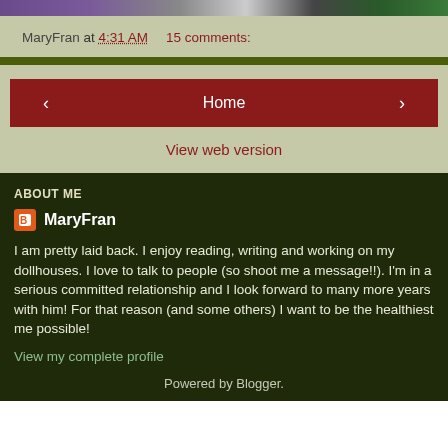[Figure (photo): Partial photo strip at top of page showing purple, gray, and green colors]
MaryFran at 4:31 AM    15 comments:
‹   Home   ›
View web version
ABOUT ME
MaryFran
I am pretty laid back. I enjoy reading, writing and working on my dollhouses. I love to talk to people (so shoot me a message!!). I'm in a serious committed relationship and I look forward to many more years with him! For that reason (and some others) I want to be the healthiest me possible!
View my complete profile
Powered by Blogger.